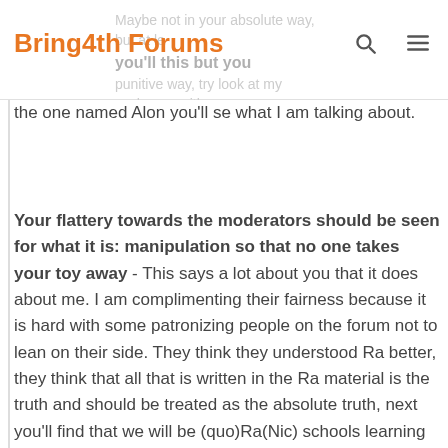Bring4th Forums
the one named Alon you'll se what I am talking about.
Your flattery towards the moderators should be seen for what it is: manipulation so that no one takes your toy away - This says a lot about you that it does about me. I am complimenting their fairness because it is hard with some patronizing people on the forum not to lean on their side. They think they understood Ra better, they think that all that is written in the Ra material is the truth and should be treated as the absolute truth, next you'll find that we will be (quo)Ra(Nic) schools learning words for words what is written there. Many STO have always talked about prudence and questions some of